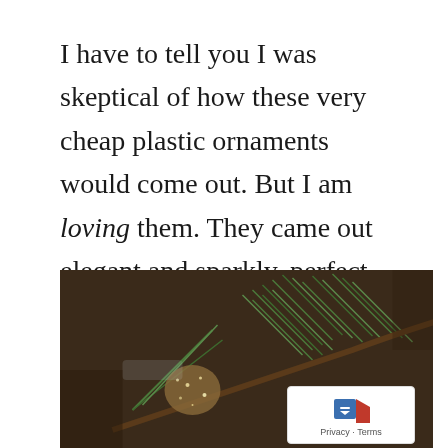I have to tell you I was skeptical of how these very cheap plastic ornaments would come out. But I am loving them. They came out elegant and sparkly, perfect for my French Farmhouse Vintage Christmas Theme.
[Figure (photo): Close-up photo of a pine branch with a glittery ornament, dark brown background]